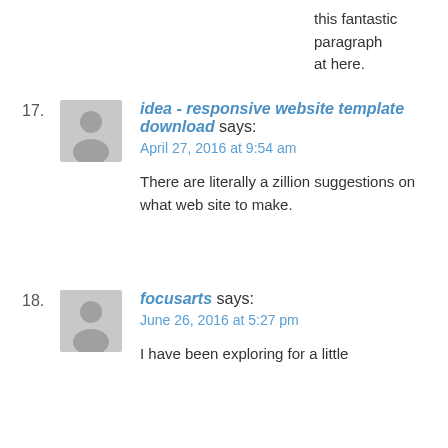this fantastic paragraph at here.
17. idea - responsive website template download says:
April 27, 2016 at 9:54 am

There are literally a zillion suggestions on what web site to make.
18. focusarts says:
June 26, 2016 at 5:27 pm

I have been exploring for a little